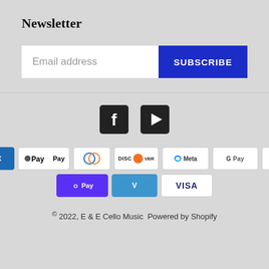Newsletter
Email address
SUBSCRIBE
[Figure (infographic): Social media icons: Facebook and YouTube/Play button icons in dark square backgrounds]
[Figure (infographic): Payment method icons: Amazon, American Express, Apple Pay, Diners Club, Discover, Meta Pay, Google Pay, Mastercard, PayPal, Shop Pay, Venmo, Visa]
© 2022, E & E Cello Music Powered by Shopify